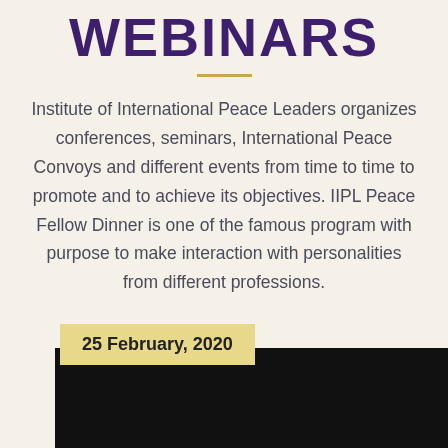WEBINARS
Institute of International Peace Leaders organizes conferences, seminars, International Peace Convoys and different events from time to time to promote and to achieve its objectives. IIPL Peace Fellow Dinner is one of the famous program with purpose to make interaction with personalities from different professions.
25 February, 2020
[Figure (photo): Dark photograph of people at an event, partially visible at bottom of page]